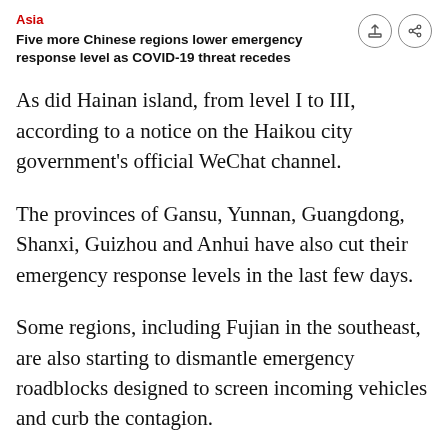Asia
Five more Chinese regions lower emergency response level as COVID-19 threat recedes
As did Hainan island, from level I to III, according to a notice on the Haikou city government's official WeChat channel.
The provinces of Gansu, Yunnan, Guangdong, Shanxi, Guizhou and Anhui have also cut their emergency response levels in the last few days.
Some regions, including Fujian in the southeast, are also starting to dismantle emergency roadblocks designed to screen incoming vehicles and curb the contagion.
The flu-like disease, which was first detected in the city of Wuhan last December, has infected more than